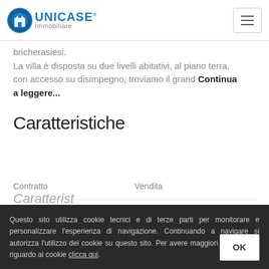UNICASE Immobiliare
bricherasiesi. La villa è disposta su due livelli abitativi, al piano terra, con accesso su disimpegno, troviamo il grand Continua a leggere...
Caratteristiche
|  |  |
| --- | --- |
| Contratto | Vendita |
| Tipologia | Casa indipendente |
| Prezzo | € 290.000,00 |
Questo sito utilizza cookie tecnici e di terze parti per monitorare e personalizzare l'esperienza di navigazione. Continuando a navigare si autorizza l'utilizzo dei cookie su questo sito. Per avere maggiori informazioni riguardo ai cookie clicca qui.